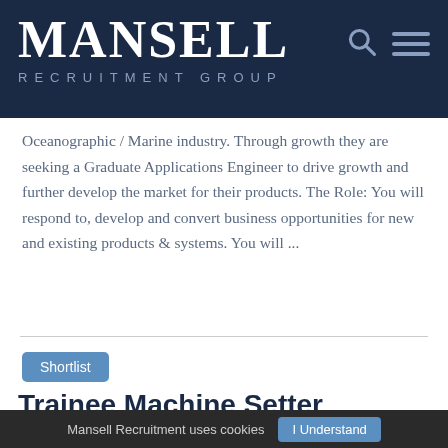MANSELL RECRUITMENT GROUP
Oceanographic / Marine industry. Through growth they are seeking a Graduate Applications Engineer to drive growth and further develop the market for their products. The Role: You will respond to, develop and convert business opportunities for new and existing products & systems. You will ...
Shortlist
Trainee Machine Setter
Mansell Recruitment uses cookies  I Understand